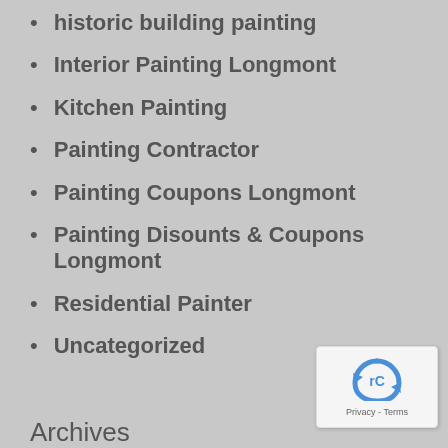historic building painting
Interior Painting Longmont
Kitchen Painting
Painting Contractor
Painting Coupons Longmont
Painting Disounts & Coupons Longmont
Residential Painter
Uncategorized
Archives